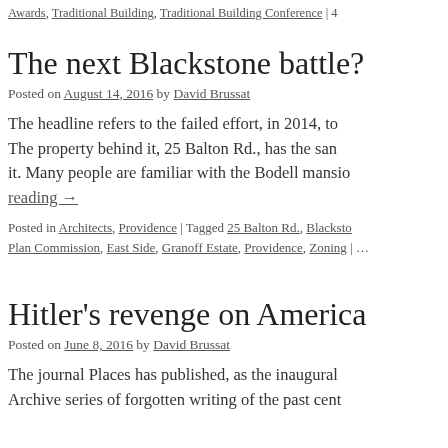Awards, Traditional Building, Traditional Building Conference | 4…
The next Blackstone battle?
Posted on August 14, 2016 by David Brussat
The headline refers to the failed effort, in 2014, to … The property behind it, 25 Balton Rd., has the san… it. Many people are familiar with the Bodell mansio… reading →
Posted in Architects, Providence | Tagged 25 Balton Rd., Blacksto… Plan Commission, East Side, Granoff Estate, Providence, Zoning | …
Hitler's revenge on America
Posted on June 8, 2016 by David Brussat
The journal Places has published, as the inaugural … Archive series of forgotten writing of the past cent…